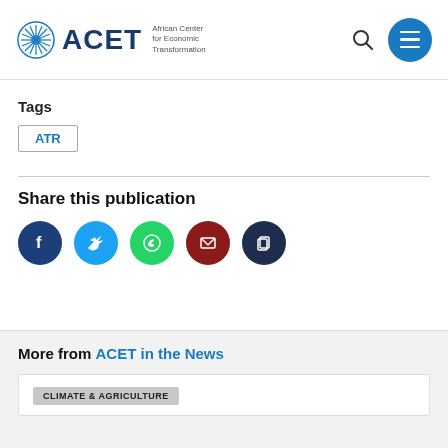ACET — African Center for Economic Transformation
Tags
ATR
Share this publication
[Figure (other): Social share icons: Facebook, Twitter, WhatsApp, Email, Copy]
More from ACET in the News
CLIMATE & AGRICULTURE